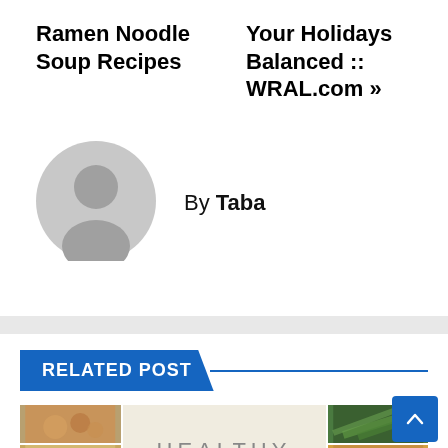Ramen Noodle Soup Recipes
Your Holidays Balanced :: WRAL.com »
By Taba
[Figure (illustration): Gray placeholder avatar circle with silhouette of a person (head and shoulders)]
RELATED POST
[Figure (photo): Collage of food images showing fried foods, asparagus, breaded chicken, pastry rolls, and the word HEALTHY in the center with a HEALTHY RECIPES label]